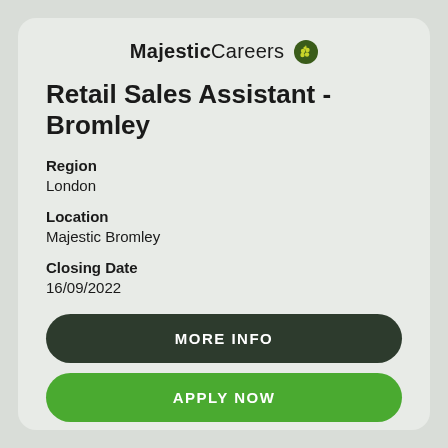[Figure (logo): MajesticCareers logo with grape icon]
Retail Sales Assistant - Bromley
Region
London
Location
Majestic Bromley
Closing Date
16/09/2022
MORE INFO
APPLY NOW